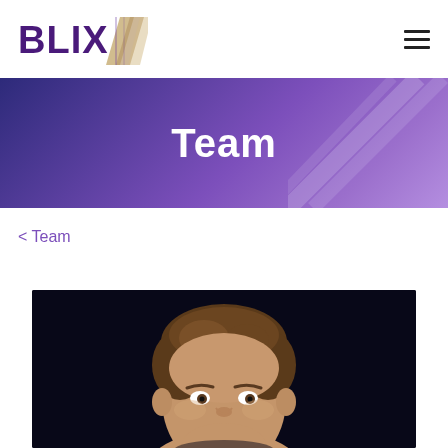[Figure (logo): BLIX logo with stylized diagonal slash mark in gold/tan colors, text in dark purple]
[Figure (other): Hamburger menu icon (three horizontal lines)]
Team
< Team
[Figure (photo): Headshot photo of a man with short brown hair against a dark/black background]